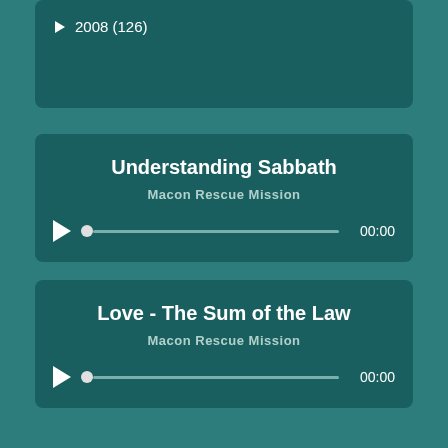► 2008 (126)
Understanding Sabbath
Macon Rescue Mission
00:00
Love - The Sum of the Law
Macon Rescue Mission
00:00